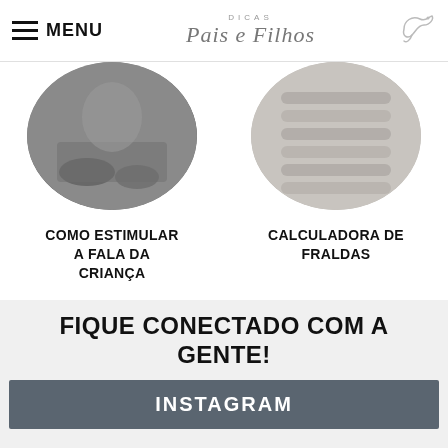MENU | DICAS Pais e Filhos
[Figure (photo): Circular cropped photo of a person sitting on gravel/sand, barefoot]
COMO ESTIMULAR A FALA DA CRIANÇA
[Figure (photo): Circular cropped photo of stacked grey textured foam or cushions]
CALCULADORA DE FRALDAS
FIQUE CONECTADO COM A GENTE!
INSTAGRAM